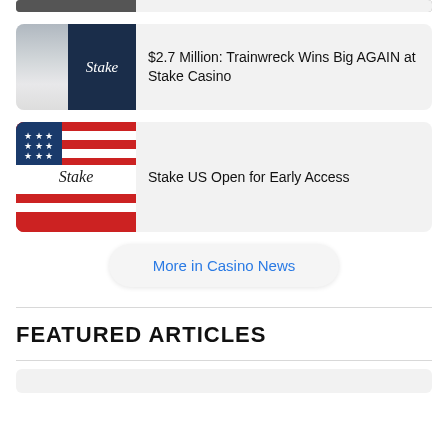[Figure (screenshot): Partially visible news card thumbnail at top of page]
$2.7 Million: Trainwreck Wins Big AGAIN at Stake Casino
Stake US Open for Early Access
More in Casino News
FEATURED ARTICLES